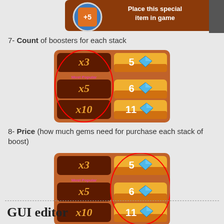[Figure (screenshot): Top portion of a game UI showing a booster item with +5 and text 'Place this special item in game']
7- Count of boosters for each stack
[Figure (screenshot): Game UI panel showing booster purchase options: x3 for 5 gems, x5 (Most Popular) for 6 gems, x10 for 11 gems. Red oval circle highlights the count column (x3, x5, x10).]
8- Price (how much gems need for purchase each stack of boost)
[Figure (screenshot): Game UI panel showing booster purchase options: x3 for 5 gems, x5 (Most Popular) for 6 gems, x10 for 11 gems. Red oval circle highlights the price column (5, 6, 11 gems).]
GUI editor